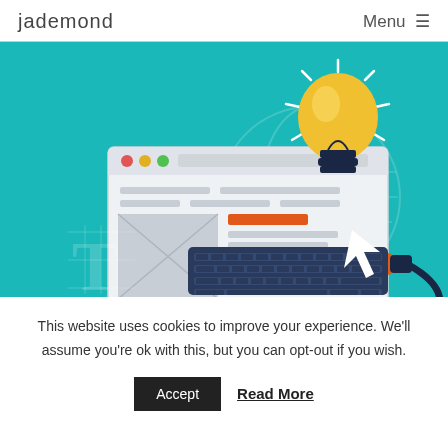jademond   Menu ≡
[Figure (illustration): Web design concept illustration on teal background: a browser window mockup with content placeholders, an orange pen tool/nib drawing into it, a glowing light bulb above, a dark keyboard at the bottom, a globe outline, a cursor arrow, and a large letter T with grid lines in the lower left.]
This website uses cookies to improve your experience. We'll assume you're ok with this, but you can opt-out if you wish.
Accept   Read More